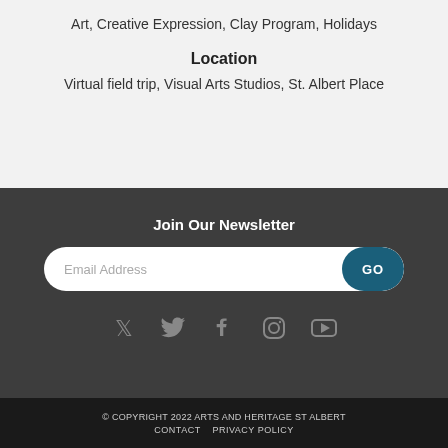Art, Creative Expression, Clay Program, Holidays
Location
Virtual field trip, Visual Arts Studios, St. Albert Place
Join Our Newsletter
Email Address GO
[Figure (infographic): Social media icons: Twitter, Facebook, Instagram, YouTube]
© COPYRIGHT 2022 ARTS AND HERITAGE ST ALBERT CONTACT   PRIVACY POLICY